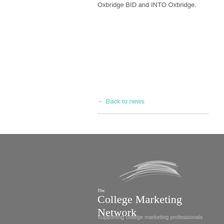Oxbridge BID and INTO Oxbridge.
← Back to news
[Figure (logo): The College Marketing Network logo — decorative swoosh lines above text reading 'The College Marketing Network' in white on a grey background]
Supporting college marketing professionals